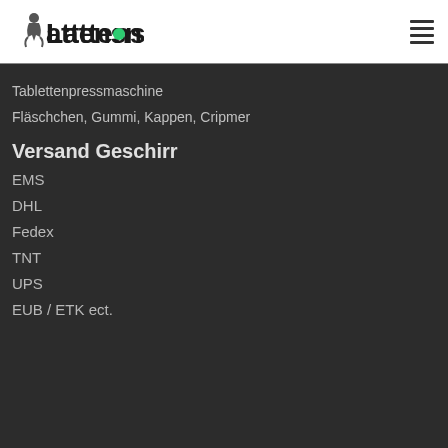Lattenson
Tablettenpressmaschine
Fläschchen, Gummi, Kappen, Cripmer
Versand Geschirr
EMS
DHL
Fedex
TNT
UPS
EUB / ETK ect.